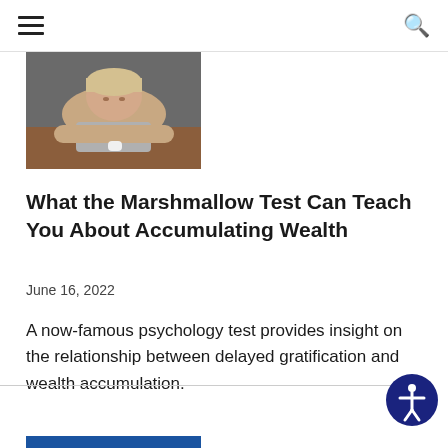navigation menu | search
[Figure (photo): A young girl resting her chin on her crossed arms on a table, looking down at a small object (marshmallow), grey background]
What the Marshmallow Test Can Teach You About Accumulating Wealth
June 16, 2022
A now-famous psychology test provides insight on the relationship between delayed gratification and wealth accumulation.